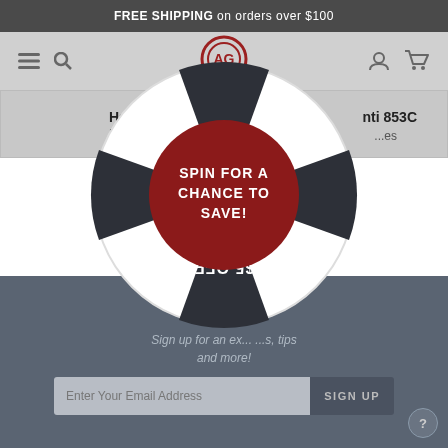FREE SHIPPING on orders over $100
[Figure (infographic): Spin wheel promotion overlay with four quadrants: $15 OFF (top), $20 OFF (right), $5 OFF (bottom, upside down), $10 OFF (left), and a dark red center circle reading SPIN FOR A CHANCE TO SAVE!]
Hatsan Ma... ...nti 853C ...es
Sign up for an ex... ...s, tips and more!
Enter Your Email Address
SIGN UP